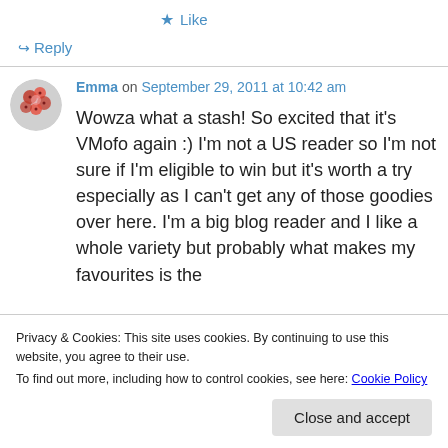★ Like
↪ Reply
Emma on September 29, 2011 at 10:42 am
Wowza what a stash! So excited that it's VMofo again :) I'm not a US reader so I'm not sure if I'm eligible to win but it's worth a try especially as I can't get any of those goodies over here. I'm a big blog reader and I like a whole variety but probably what makes my favourites is the
Privacy & Cookies: This site uses cookies. By continuing to use this website, you agree to their use.
To find out more, including how to control cookies, see here: Cookie Policy
Close and accept